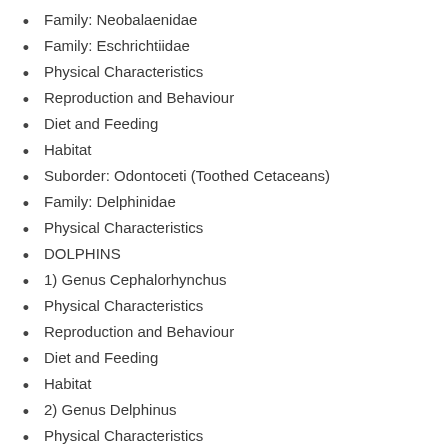Family: Neobalaenidae
Family: Eschrichtiidae
Physical Characteristics
Reproduction and Behaviour
Diet and Feeding
Habitat
Suborder: Odontoceti (Toothed Cetaceans)
Family: Delphinidae
Physical Characteristics
DOLPHINS
1) Genus Cephalorhynchus
Physical Characteristics
Reproduction and Behaviour
Diet and Feeding
Habitat
2) Genus Delphinus
Physical Characteristics
Reproduction and Behaviour
Diet and Feeding